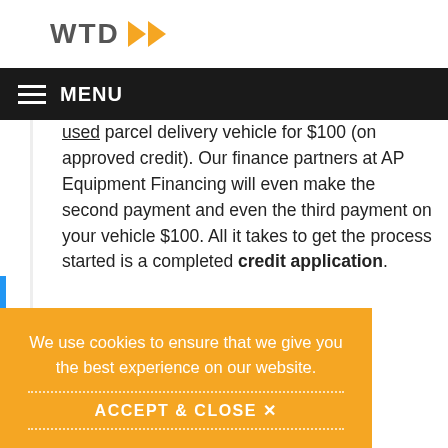WTD logo with orange arrows
MENU
used parcel delivery vehicle for $100 (on approved credit). Our finance partners at AP Equipment Financing will even make the second payment and even the third payment on your vehicle $100. All it takes to get the process started is a completed credit application.
AP Financing's Peak Season Special
We use cookies to ensure that we give you the best experience on our website.
ACCEPT & CLOSE ✕